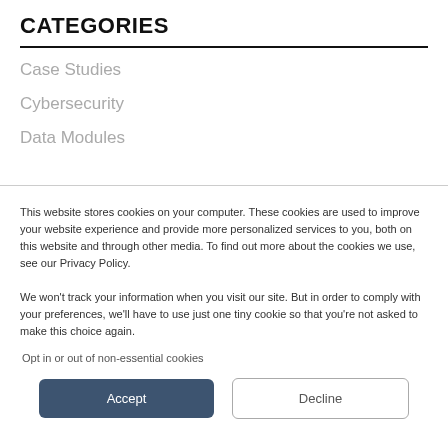CATEGORIES
Case Studies
Cybersecurity
Data Modules
This website stores cookies on your computer. These cookies are used to improve your website experience and provide more personalized services to you, both on this website and through other media. To find out more about the cookies we use, see our Privacy Policy.

We won't track your information when you visit our site. But in order to comply with your preferences, we'll have to use just one tiny cookie so that you're not asked to make this choice again.
Opt in or out of non-essential cookies
Accept
Decline